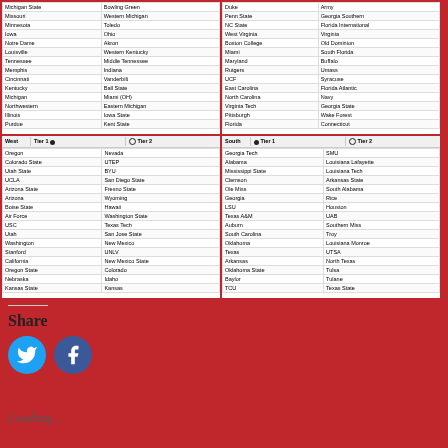| Tier 1 | Tier 2 |
| --- | --- |
| Michigan State | Bowling Green |
| Missouri | Western Michigan |
| Minnesota | Toledo |
| Iowa | Ohio |
| Notre Dame | Akron |
| Louisville | Western Kentucky |
| Tennessee | Middle Tennessee |
| Memphis | Indiana |
| Cincinnati | Vanderbilt |
| Kentucky | Ball State |
| Michigan | Miami (OH) |
| Northwestern | Eastern Michigan |
| Illinois | Iowa State |
| Purdue | Kent State |
| Tier 1 | Tier 2 |
| --- | --- |
| Duke | Army |
| Penn State | Georgia Southern |
| NC State | Florida International |
| West Virginia | Virginia |
| Boston College | Old Dominion |
| Miami | South Florida |
| Maryland | Buffalo |
| Rutgers | Umass |
| UCF | Syracuse |
| East Carolina | Florida Atlantic |
| North Carolina | Navy |
| Virginia Tech | Georgia State |
| Pittsburgh | Wake Forest |
| Florida | Connecticut |
| West | Tier 1 | Tier 2 |
| --- | --- | --- |
| Oregon | Nevada |
| Colorado State | UTEP |
| Utah State | BYU |
| UCLA | San Diego State |
| Arizona State | Fresno State |
| Arizona | Wyoming |
| Boise State | Hawaii |
| Air Force | Washington State |
| USC | Texas Tech |
| Utah | San Jose State |
| Washington | New Mexico |
| Stanford | UNLV |
| California | New Mexico State |
| Oregon State | Colorado |
| Nebraska | Idaho |
| Kansas State | Kansas |
| South | Tier 1 | Tier 2 |
| --- | --- | --- |
| Georgia Tech | SMU |
| Alabama | Louisiana Lafayette |
| Mississippi State | Louisiana Tech |
| Clemson | Arkansas State |
| Ole Miss | South Alabama |
| Georgia | Rice |
| LSU | Houston |
| Texas A&M | UAB |
| Auburn | Southern Miss |
| South Carolina | Troy |
| Oklahoma | Louisiana Monroe |
| Texas | UTSA |
| Arkansas | North Texas |
| Oklahoma State | Tulsa |
| Baylor | Tulane |
| TCU | Texas State |
Share
[Figure (logo): Twitter social share button (blue circle with bird icon)]
[Figure (logo): Facebook social share button (blue circle with f icon)]
Loading...